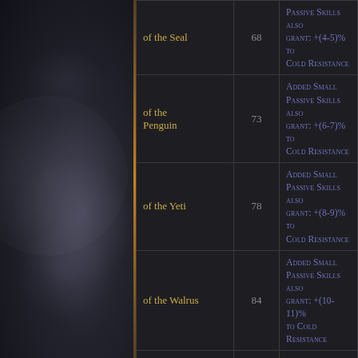| Name | Level | Effect |
| --- | --- | --- |
| of the Seal | 68 | Passive Skills also grant: +(4-5)% to Cold Resistance |
| of the Penguin | 73 | Added Small Passive Skills also grant: +(6-7)% to Cold Resistance |
| of the Yeti | 78 | Added Small Passive Skills also grant: +(8-9)% to Cold Resistance |
| of the Walrus | 84 | Added Small Passive Skills also grant: +(10-11)% to Cold Resistance |
| Hazardous | 68 | Added Small Passive Skills also grant: 3% |